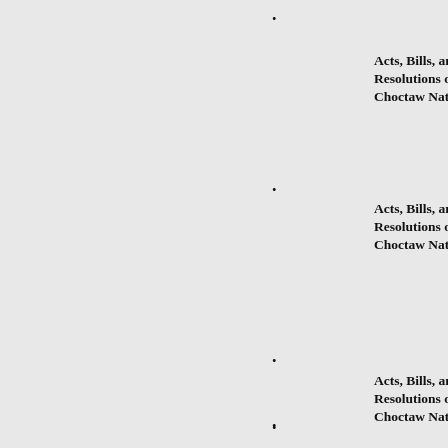.
Acts, Bills, and
Resolutions of the
Choctaw Nation
.
Acts, Bills, and
Resolutions of the
Choctaw Nation
.
Acts, Bills, and
Resolutions of the
Choctaw Nation